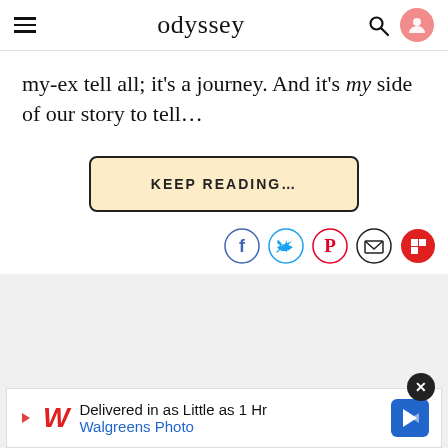odyssey
my-ex tell all; it's a journey. And it's my side of our story to tell…
KEEP READING…
[Figure (infographic): Social sharing icons row: Facebook, Twitter, Pinterest, Email, Flipboard]
[Figure (infographic): Advertisement banner: Walgreens Photo — Delivered in as Little as 1 Hr]